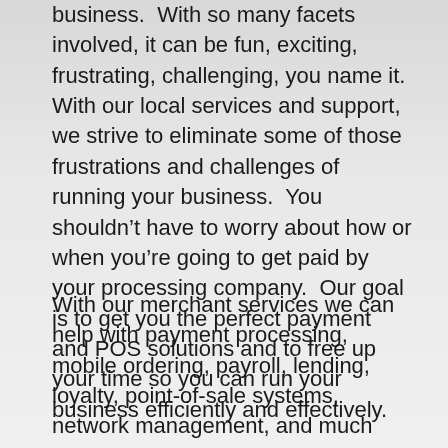business.  With so many facets involved, it can be fun, exciting, frustrating, challenging, you name it.  With our local services and support, we strive to eliminate some of those frustrations and challenges of running your business.  You shouldn't have to worry about how or when you're going to get paid by your processing company.  Our goal is to get you the perfect payment and POS solutions and to free up your time so you can run your business efficiently and effectively.
With our merchant services we can help with payment processing, mobile ordering, payroll, lending, loyalty, point-of-sale systems, network management, and much more. We've serviced the DFW Metroplex as representatives for one of the largest processors since 2002.  Having serviced thousands of customers, we're proud of the work we do and we know you will be too.  We want to see